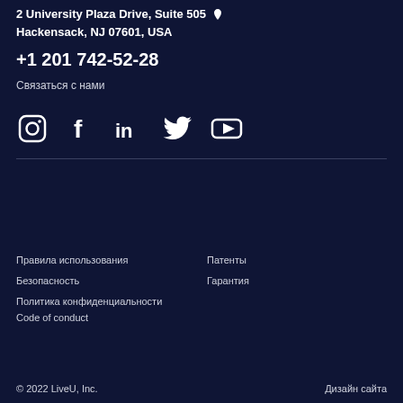2 University Plaza Drive, Suite 505 ♥ Hackensack, NJ 07601, USA
+1 201 742-52-28
Связаться с нами
[Figure (infographic): Social media icons: Instagram, Facebook, LinkedIn, Twitter, YouTube]
Правила использования
Патенты
Безопасность
Гарантия
Политика конфиденциальности
Code of conduct
© 2022 LiveU, Inc.
Дизайн сайта